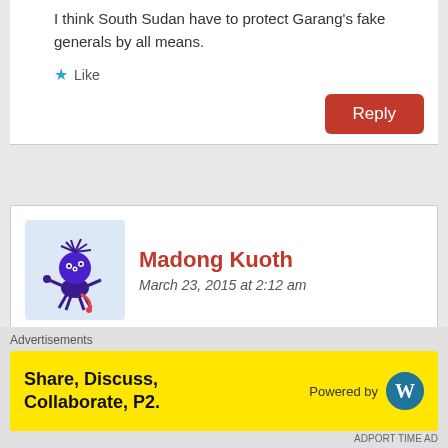I think South Sudan have to protect Garang's fake generals by all means.
Like
Reply
Madong Kuoth
March 23, 2015 at 2:12 am
It is their turn now and that is way dictatorship act always.
Like
Reply
Advertisements
Share, Discuss, Collaborate, P2.
Powered by